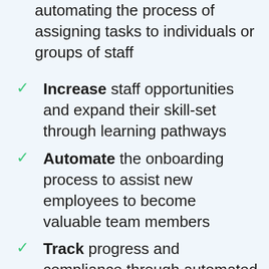automating the process of assigning tasks to individuals or groups of staff
Increase staff opportunities and expand their skill-set through learning pathways
Automate the onboarding process to assist new employees to become valuable team members
Track progress and compliance through automated reports that